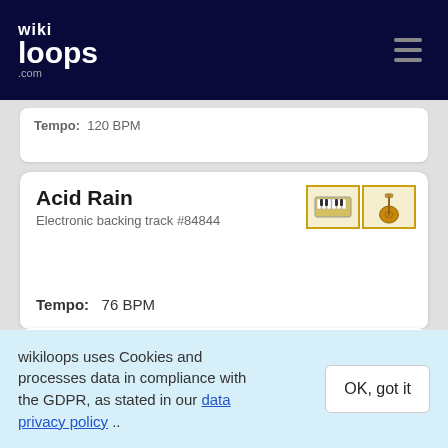wikiloops.com
Tempo: 120 BPM
Acid Rain
Electronic backing track #84844
Tempo: 76 BPM
Celtic Iberian Chant
Electronic backing track #54462
wikiloops uses Cookies and processes data in compliance with the GDPR, as stated in our data privacy policy ..